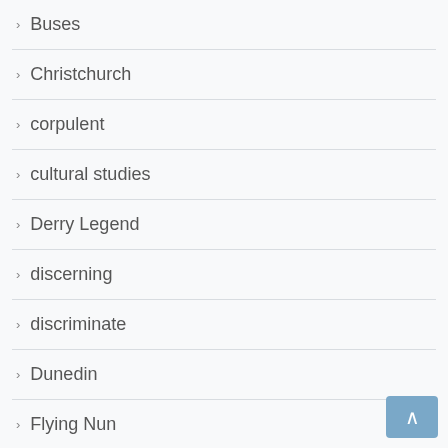Buses
Christchurch
corpulent
cultural studies
Derry Legend
discerning
discriminate
Dunedin
Flying Nun
Food